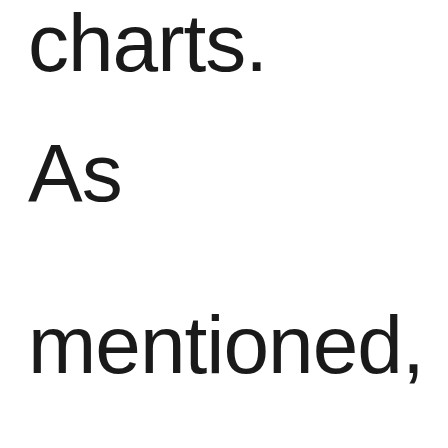charts.
As mentioned, Tarja’s “Innocence”